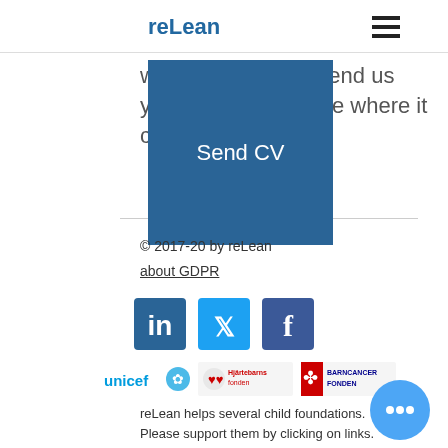reLean
new people to see if there could be mutual benefit from working together. Send us your CV and lets see where it could lead!
[Figure (other): Blue 'Send CV' button]
© 2017-20 by reLean
about GDPR
[Figure (other): LinkedIn, Twitter, and Facebook social media icons]
[Figure (other): Logos for UNICEF, Hjärtebarns fonden, and Barncancer Fonden]
reLean helps several child foundations. Please support them by clicking on links.